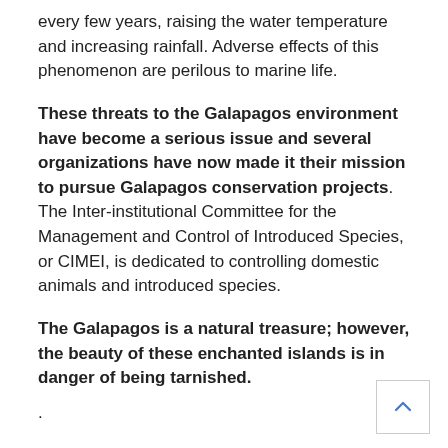every few years, raising the water temperature and increasing rainfall. Adverse effects of this phenomenon are perilous to marine life.
These threats to the Galapagos environment have become a serious issue and several organizations have now made it their mission to pursue Galapagos conservation projects. The Inter-institutional Committee for the Management and Control of Introduced Species, or CIMEI, is dedicated to controlling domestic animals and introduced species.
The Galapagos is a natural treasure; however, the beauty of these enchanted islands is in danger of being tarnished.
.